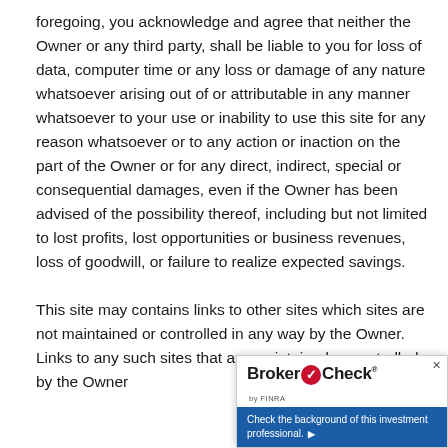foregoing, you acknowledge and agree that neither the Owner or any third party, shall be liable to you for loss of data, computer time or any loss or damage of any nature whatsoever arising out of or attributable in any manner whatsoever to your use or inability to use this site for any reason whatsoever or to any action or inaction on the part of the Owner or for any direct, indirect, special or consequential damages, even if the Owner has been advised of the possibility thereof, including but not limited to lost profits, lost opportunities or business revenues, loss of goodwill, or failure to realize expected savings.

This site may contains links to other sites which sites are not maintained or controlled in any way by the Owner. Links to any such sites that are maintained or controlled by the Owner
[Figure (other): BrokerCheck popup widget by FINRA with red circle check logo, showing 'Check the background of this investment professional.' text on blue background with arrow.]